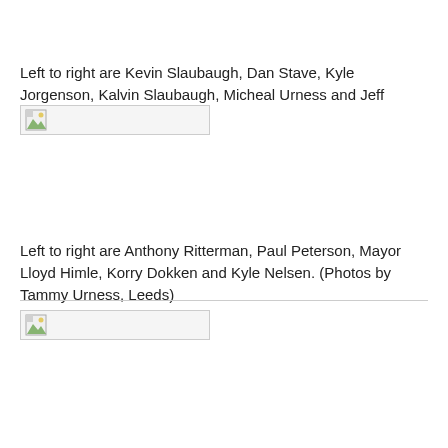Left to right are Kevin Slaubaugh, Dan Stave, Kyle Jorgenson, Kalvin Slaubaugh, Micheal Urness and Jeff Jacobson.
[Figure (photo): Broken/missing image placeholder for group photo of Kevin Slaubaugh, Dan Stave, Kyle Jorgenson, Kalvin Slaubaugh, Micheal Urness and Jeff Jacobson.]
Left to right are Anthony Ritterman, Paul Peterson, Mayor Lloyd Himle, Korry Dokken and Kyle Nelsen. (Photos by Tammy Urness, Leeds)
[Figure (photo): Broken/missing image placeholder for group photo of Anthony Ritterman, Paul Peterson, Mayor Lloyd Himle, Korry Dokken and Kyle Nelsen.]